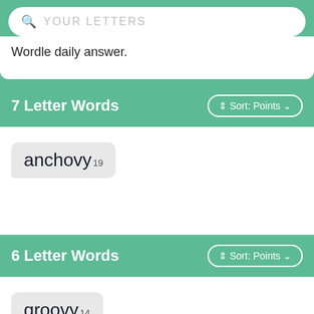YOUR LETTERS (search bar placeholder)
Wordle daily answer.
7 Letter Words
anchovy 19
6 Letter Words
groovy 14